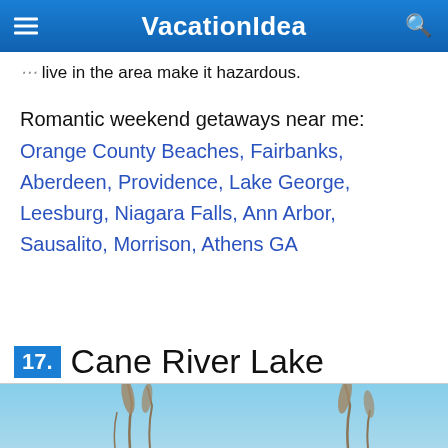VacationIdea
live in the area make it hazardous.
Romantic weekend getaways near me: Orange County Beaches, Fairbanks, Aberdeen, Providence, Lake George, Leesburg, Niagara Falls, Ann Arbor, Sausalito, Morrison, Athens GA
17. Cane River Lake
[Figure (photo): Photo of reeds/grass against a light blue sky, bottom portion of image]